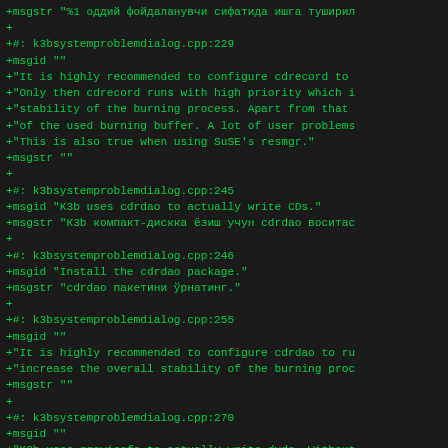+msgstr "%1 оддий фойдаланувчи сифатида ишга туширил
+
+#: k3bsystemproblemdialog.cpp:229
+msgid ""
+"It is highly recommended to configure cdrecord to
+"Only then cdrecord runs with high priority which i
+"stability of the burning process. Apart from that
+"of the used burning buffer. A lot of user problems
+"This is also true when using SuSE's resmgr."
+msgstr ""
+
+#: k3bsystemproblemdialog.cpp:245
+msgid "K3b uses cdrdao to actually write CDs."
+msgstr "К3b компакт-дискка ёзиш учун cdrdao воситас
+
+#: k3bsystemproblemdialog.cpp:246
+msgid "Install the cdrdao package."
+msgstr "cdrdao пакетини ўрнатинг."
+
+#: k3bsystemproblemdialog.cpp:255
+msgid ""
+"It is highly recommended to configure cdrdao to ru
+"increase the overall stability of the burning proc
+msgstr ""
+
+#: k3bsystemproblemdialog.cpp:270
+msgid ""
+"K3b uses growisofs to actually write dvds. Without
+"able to write dvds. Make sure to install at least
+msgstr ""